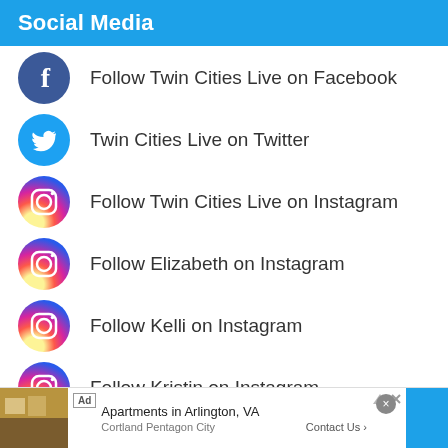Social Media
Follow Twin Cities Live on Facebook
Twin Cities Live on Twitter
Follow Twin Cities Live on Instagram
Follow Elizabeth on Instagram
Follow Kelli on Instagram
Follow Kristin on Instagram
Follow Elizabeth on Facebook
Follow Kelli on Facebook
Ad  Apartments in Arlington, VA  Cortland Pentagon City  Contact Us